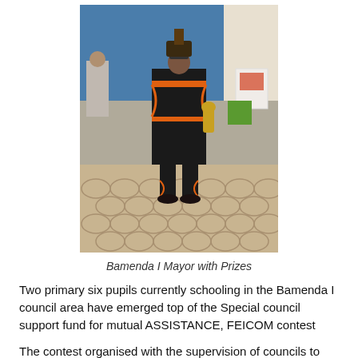[Figure (photo): A person wearing traditional African attire with orange and black patterns, standing on a decorative paved courtyard. Other people in formal/casual wear are visible in the background near a blue building.]
Bamenda I Mayor with Prizes
Two primary six pupils currently schooling in the Bamenda I council area have emerged top of the Special council support fund for mutual ASSISTANCE, FEICOM contest
The contest organised with the supervision of councils to mark the 45th anniversary of FEICOM saw Munduh Ranibel of GS Up station emerge first with 26.5/30. Their contest was focused on